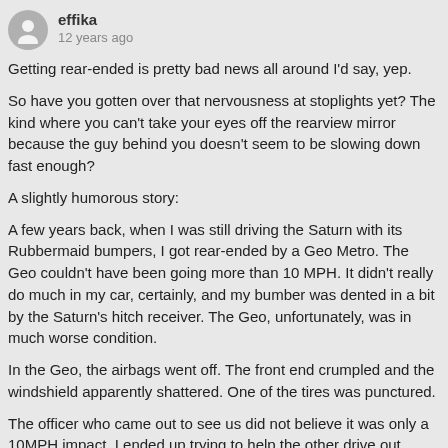effika
12 years ago
Getting rear-ended is pretty bad news all around I'd say, yep.
So have you gotten over that nervousness at stoplights yet? The kind where you can't take your eyes off the rearview mirror because the guy behind you doesn't seem to be slowing down fast enough?
A slightly humorous story:
A few years back, when I was still driving the Saturn with its Rubbermaid bumpers, I got rear-ended by a Geo Metro. The Geo couldn't have been going more than 10 MPH. It didn't really do much in my car, certainly, and my bumber was dented in a bit by the Saturn's hitch receiver. The Geo, unfortunately, was in much worse condition.
In the Geo, the airbags went off. The front end crumpled and the windshield apparently shattered. One of the tires was punctured.
The officer who came out to see us did not believe it was only a 10MPH impact. I ended up trying to help the other drive out. When I showed him my nearly-pristine bumper (with a slight dent back out) he was more OK with it.